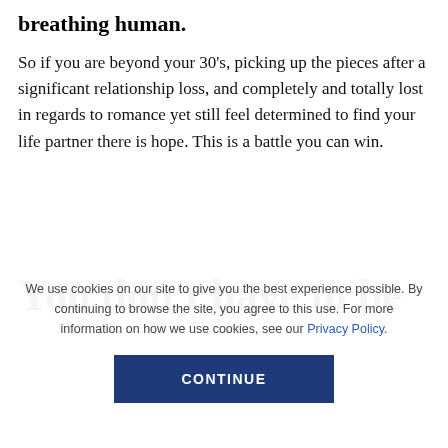breathing human.
So if you are beyond your 30’s, picking up the pieces after a significant relationship loss, and completely and totally lost in regards to romance yet still feel determined to find your life partner there is hope. This is a battle you can win.
You don’t have to be
We use cookies on our site to give you the best experience possible. By continuing to browse the site, you agree to this use. For more information on how we use cookies, see our Privacy Policy.
CONTINUE